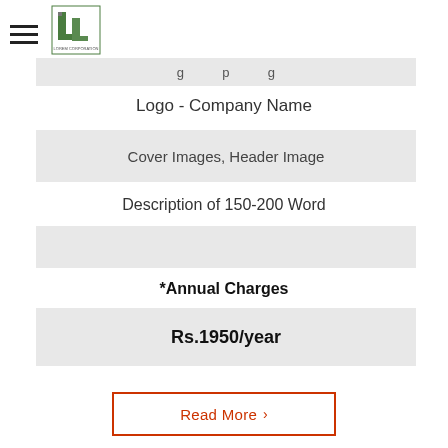[Figure (logo): Company logo with green stylized L-shape icon and text below]
g p g
Logo - Company Name
Cover Images, Header Image
Description of 150-200 Word
*Annual Charges
Rs.1950/year
Read More >